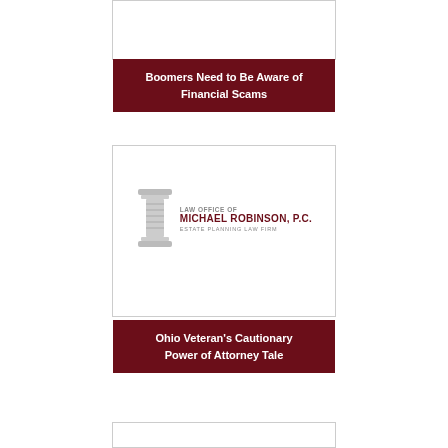[Figure (other): Blank white card placeholder at top]
Boomers Need to Be Aware of Financial Scams
[Figure (logo): Law Office of Michael Robinson, P.C. Estate Planning Law Firm logo with Greek column illustration]
Ohio Veteran's Cautionary Power of Attorney Tale
[Figure (other): Blank white card placeholder at bottom]